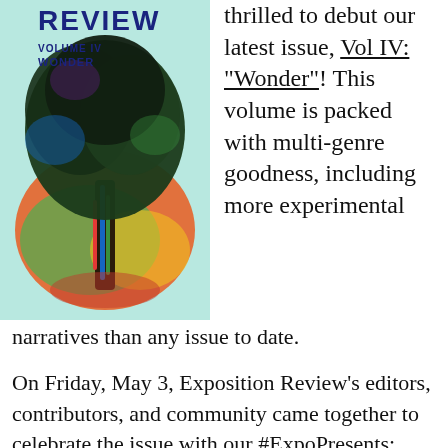[Figure (illustration): Magazine cover showing a colorful tree with dark foliage and multicolored trunk against a light teal background. Text at top reads 'REVIEW' and below that 'VOLUME IV WONDER'.]
thrilled to debut our latest issue, Vol IV: "Wonder"! This volume is packed with multi-genre goodness, including more experimental narratives than any issue to date.
On Friday, May 3, Exposition Review's editors, contributors, and community came together to celebrate the issue with our #ExpoPresents: Launch Party & Reading at one of our favorite